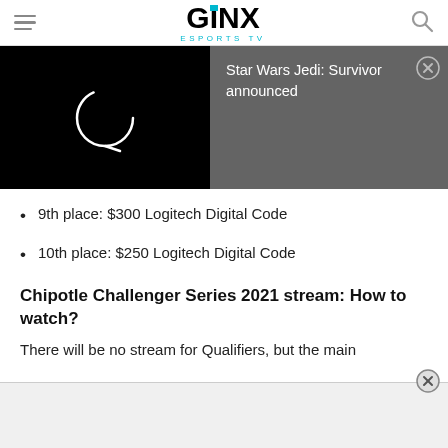GINX ESPORTS TV
[Figure (screenshot): Video player showing loading spinner on black background alongside a grey notification panel reading 'Star Wars Jedi: Survivor announced' with a close button]
9th place: $300 Logitech Digital Code
10th place: $250 Logitech Digital Code
Chipotle Challenger Series 2021 stream: How to watch?
There will be no stream for Qualifiers, but the main
[Figure (other): Bottom advertisement bar with close button]